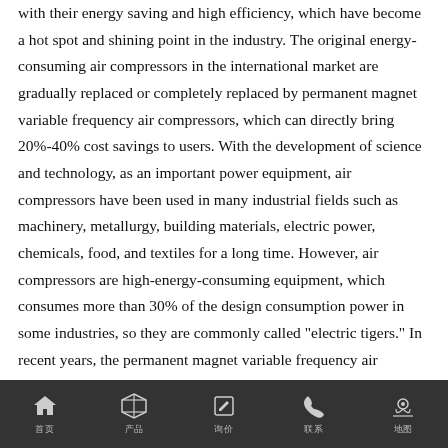with their energy saving and high efficiency, which have become a hot spot and shining point in the industry. The original energy-consuming air compressors in the international market are gradually replaced or completely replaced by permanent magnet variable frequency air compressors, which can directly bring 20%-40% cost savings to users. With the development of science and technology, as an important power equipment, air compressors have been used in many industrial fields such as machinery, metallurgy, building materials, electric power, chemicals, food, and textiles for a long time. However, air compressors are high-energy-consuming equipment, which consumes more than 30% of the design consumption power in some industries, so they are commonly called "electric tigers." In recent years, the permanent magnet variable frequency air compressor has become a hot spot and characteristic in the industry due to its energy saving and high efficiency. The original "electric tiger" in the
首页  产品  询价  联系  地图